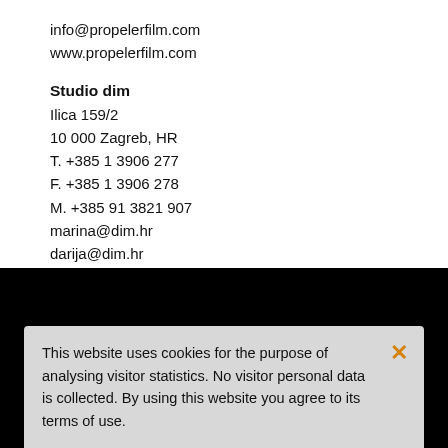info@propelerfilm.com
www.propelerfilm.com
Studio dim
Ilica 159/2
10 000 Zagreb, HR
T. +385 1 3906 277
F. +385 1 3906 278
M. +385 91 3821 907
marina@dim.hr
darija@dim.hr
www.dim.hr
This website uses cookies for the purpose of analysing visitor statistics. No visitor personal data is collected. By using this website you agree to its terms of use.